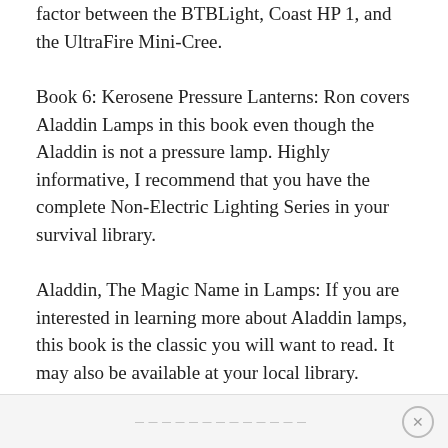factor between the BTBLight, Coast HP 1, and the UltraFire Mini-Cree.
Book 6: Kerosene Pressure Lanterns: Ron covers Aladdin Lamps in this book even though the Aladdin is not a pressure lamp.  Highly informative, I recommend that you have the complete Non-Electric Lighting Series in your survival library.
Aladdin, The Magic Name in Lamps:  If you are interested in learning more about Aladdin lamps, this book is the classic you will want to read.  It may also be available at your local library.
— — — — — — — — — — — — —